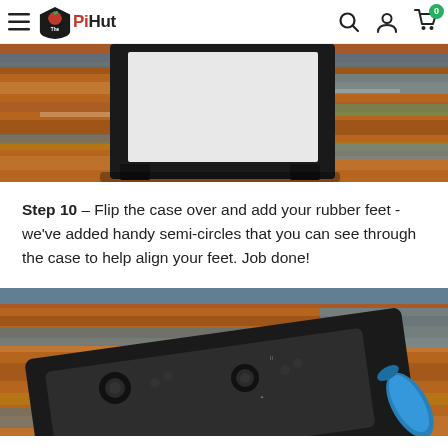The PiHut — navigation header with menu, logo, search, account, and cart icons
[Figure (photo): Close-up photo of a black electronics case standing upright on a colorful distressed wood surface with blue, brown, and orange paint. The case shows a rectangular frame with rubber feet at the base.]
Step 10 – Flip the case over and add your rubber feet - we've added handy semi-circles that you can see through the case to help align your feet. Job done!
[Figure (photo): Close-up photo of a black electronics controller/gamepad lying on a colorful distressed wood surface. The device shows joystick nubs, buttons and a blue cylindrical stylus pen to the right.]